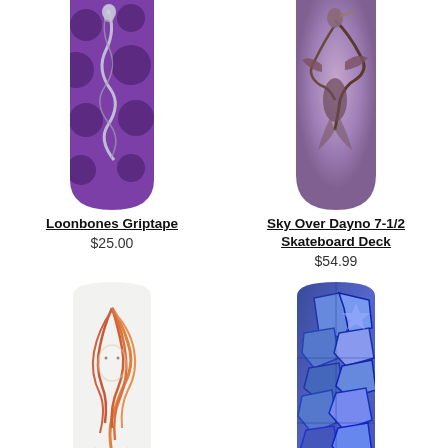[Figure (photo): Skateboard griptape with purple polka dot pattern and skeleton/snake design, partially cropped at top]
Loonbones Griptape
$25.00
[Figure (photo): Skateboard deck with blue/purple sky and heron bird painting, partially cropped at top]
Sky Over Dayno 7-1/2 Skateboard Deck
$54.99
[Figure (photo): White skateboard deck with orange flowing hair / tree-like illustration]
[Figure (photo): Blue skateboard deck with geometric graffiti/mosaic pattern in blue and purple tones]